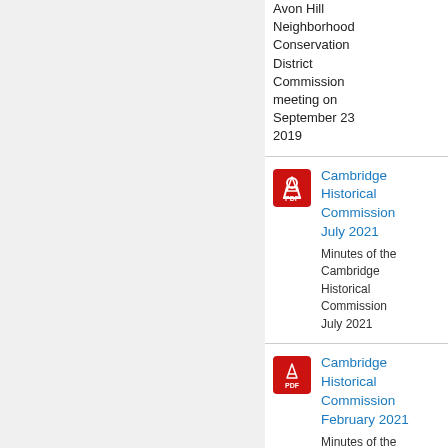Avon Hill Neighborhood Conservation District Commission meeting on September 23 2019
[Figure (logo): Adobe PDF red icon]
Cambridge Historical Commission July 2021
Minutes of the Cambridge Historical Commission July 2021
[Figure (logo): Adobe PDF red icon]
Cambridge Historical Commission February 2021
Minutes of the Cambridge